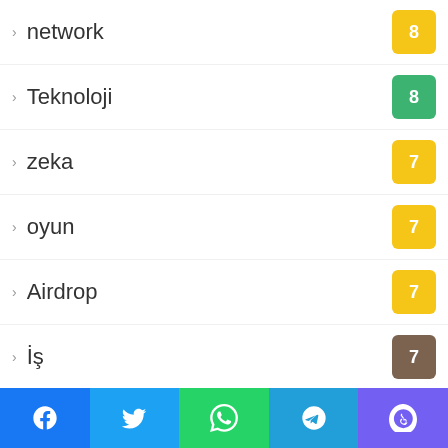network
Teknoloji
zeka
oyun
Airdrop
İş
games
gamer
game
yazılar
quantum
quantum computer
quantum game